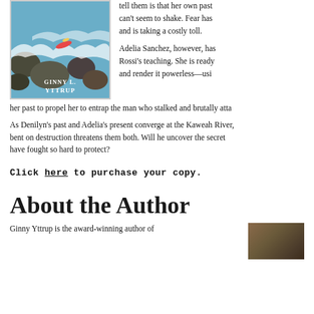[Figure (illustration): Book cover for a novel by Ginny L. Yttrup, showing a kayaker in turbulent river rapids with rocks, blue-green water and white water foam. Author name 'GINNY L. YTTRUP' displayed on cover.]
tell them is that her own past can't seem to shake. Fear has and is taking a costly toll.
Adelia Sanchez, however, has Rossi's teaching. She is ready and render it powerless—usi her past to propel her to entrap the man who stalked and brutally atta
As Denilyn's past and Adelia's present converge at the Kaweah River, bent on destruction threatens them both. Will he uncover the secret have fought so hard to protect?
Click here to purchase your copy.
About the Author
Ginny Yttrup is the award-winning author of
[Figure (photo): Author photo of Ginny Yttrup, partially visible in bottom right corner]